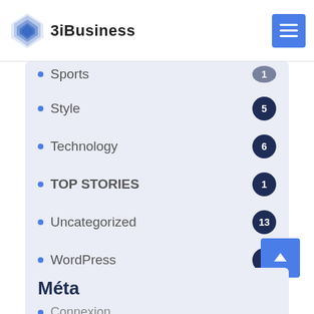3iBusiness
Sports
Style  5
Technology  6
TOP STORIES  1
Uncategorized  13
WordPress  1
Méta
Connexion